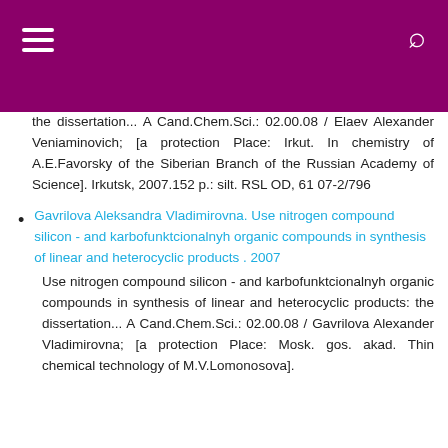the dissertation... A Cand.Chem.Sci.: 02.00.08 / Elaev Alexander Veniaminovich; [a protection Place: Irkut. In chemistry of A.E.Favorsky of the Siberian Branch of the Russian Academy of Science]. Irkutsk, 2007.152 p.: silt. RSL OD, 61 07-2/796
Gavrilova Aleksandra Vladimirovna. Use nitrogen compound silicon - and karbofunktcionalnyh organic compounds in synthesis of linear and heterocyclic products . 2007
Use nitrogen compound silicon - and karbofunktcionalnyh organic compounds in synthesis of linear and heterocyclic products: the dissertation... A Cand.Chem.Sci.: 02.00.08 / Gavrilova Alexander Vladimirovna; [a protection Place: Mosk. gos. akad. Thin chemical technology of M.V.Lomonosova].